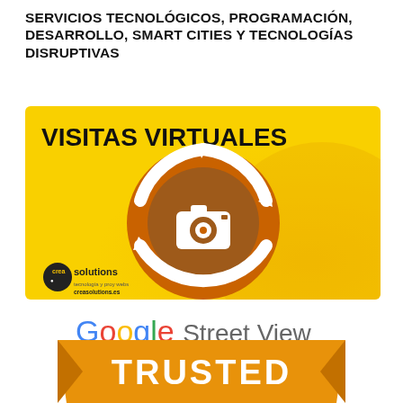SERVICIOS TECNOLÓGICOS, PROGRAMACIÓN, DESARROLLO, SMART CITIES Y TECNOLOGÍAS DISRUPTIVAS
[Figure (illustration): Yellow banner image with text VISITAS VIRTUALES and a circular arrow icon with a camera in the center on an orange/brown circle. Crea Solutions logo at bottom left.]
[Figure (logo): Google Street View logo in multicolor Google font followed by Street View in gray]
[Figure (illustration): Orange/gold banner shape with white text TRUSTED in bold]